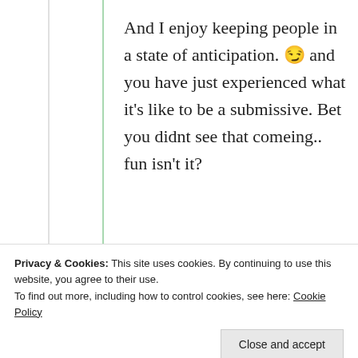And I enjoy keeping people in a state of anticipation. 😏 and you have just experienced what it's like to be a submissive. Bet you didnt see that comeing.. fun isn't it?
★ Liked by 1 person
Privacy & Cookies: This site uses cookies. By continuing to use this website, you agree to their use. To find out more, including how to control cookies, see here: Cookie Policy
Close and accept